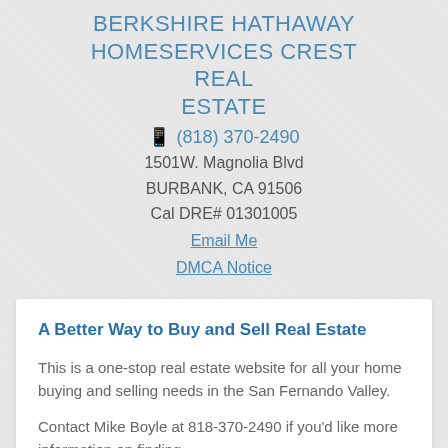BERKSHIRE HATHAWAY HOMESERVICES CREST REAL ESTATE
☎ (818) 370-2490
1501W. Magnolia Blvd
BURBANK, CA 91506
Cal DRE# 01301005
Email Me
DMCA Notice
A Better Way to Buy and Sell Real Estate
This is a one-stop real estate website for all your home buying and selling needs in the San Fernando Valley.
Contact Mike Boyle at 818-370-2490 if you'd like more information on finding